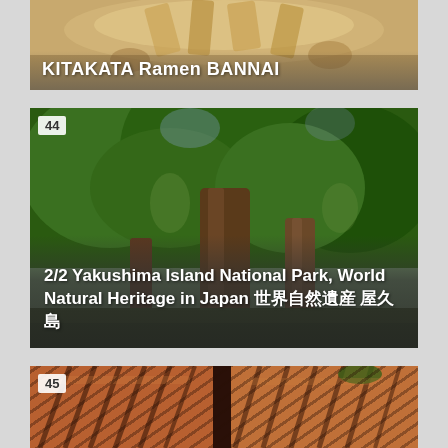[Figure (photo): Close-up photo of Kitakata ramen in a bowl with broth and ingredients, with white text overlay reading KITAKATA Ramen BANNAI]
[Figure (photo): Photo of large ancient trees in Yakushima Island National Park with lush green forest, numbered 44 in top left corner, with text overlay: 2/2 Yakushima Island National Park, World Natural Heritage in Japan 世界自然遺産 屋久島]
[Figure (photo): Close-up photo of grilled meat with grill marks, numbered 45 in top left corner]